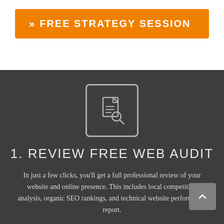FREE STRATEGY SESSION
[Figure (illustration): Document with magnifying glass icon inside a rounded square border, white lines on dark background]
1. REVIEW FREE WEB AUDIT
In just a few clicks, you'll get a full professional review of your website and online presence. This includes local competition analysis, organic SEO rankings, and technical website performance report.